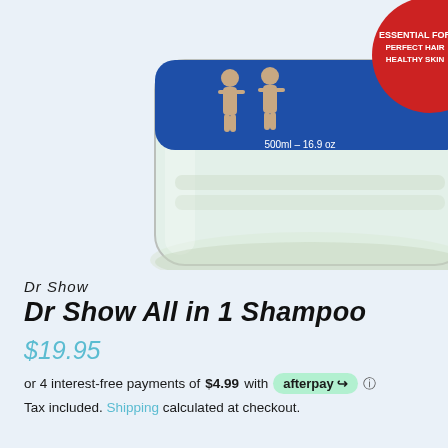[Figure (photo): A clear plastic bottle of Dr Show All in 1 Shampoo, 500ml / 16.9 oz, showing the bottom portion of the bottle with a blue label partially visible at top. The bottle contains a clear/slightly milky liquid.]
Dr Show
Dr Show All in 1 Shampoo
$19.95
or 4 interest-free payments of $4.99 with afterpay ℹ
Tax included. Shipping calculated at checkout.